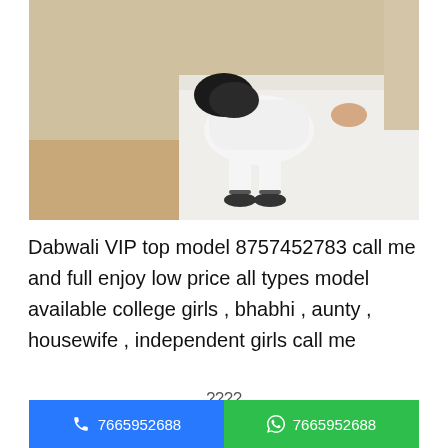[Figure (photo): A person in white clothing leaning over a white bed surface, wearing dark sandals, viewed from behind/side angle in an indoor setting with wooden flooring.]
Dabwali VIP top model 8757452783 call me and full enjoy low price all types model available college girls , bhabhi , aunty , housewife , independent girls call me
????
7665952688
7665952688